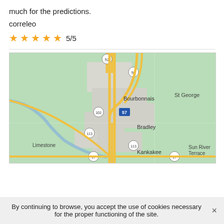much for the predictions.
correleo
★★★★★ 5/5
[Figure (map): Google Maps style map showing Bourbonnais, Bradley, Kankakee area in Illinois with highways 52, 50, 57, 102, 113, 17 and surrounding areas St George, Limestone, Sun River Terrace]
By continuing to browse, you accept the use of cookies necessary for the proper functioning of the site.